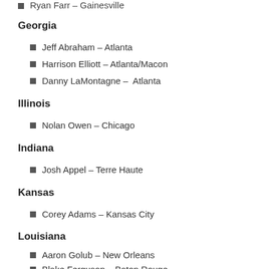Ryan Farr – Gainesville
Georgia
Jeff Abraham – Atlanta
Harrison Elliott – Atlanta/Macon
Danny LaMontagne –  Atlanta
Illinois
Nolan Owen – Chicago
Indiana
Josh Appel – Terre Haute
Kansas
Corey Adams – Kansas City
Louisiana
Aaron Golub – New Orleans
Blake Ferguson – Baton Rouge